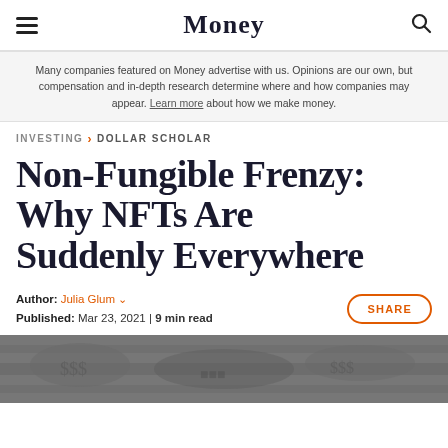Money
Many companies featured on Money advertise with us. Opinions are our own, but compensation and in-depth research determine where and how companies may appear. Learn more about how we make money.
INVESTING > DOLLAR SCHOLAR
Non-Fungible Frenzy: Why NFTs Are Suddenly Everywhere
Author: Julia Glum | Published: Mar 23, 2021 | 9 min read
[Figure (photo): Grayscale photo of US dollar bills at the bottom of the page]